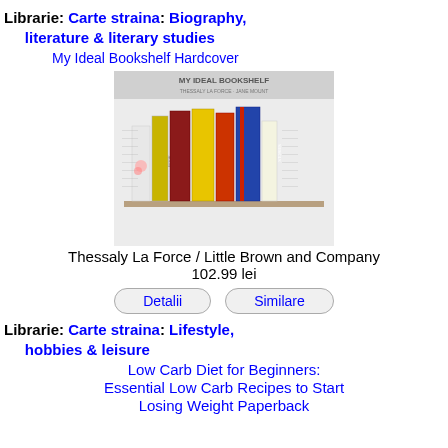Librarie: Carte straina: Biography, literature & literary studies
My Ideal Bookshelf Hardcover
[Figure (photo): Book cover for My Ideal Bookshelf showing colorful book spines arranged on a shelf]
Thessaly La Force / Little Brown and Company
102.99 lei
Detalii
Similare
Librarie: Carte straina: Lifestyle, hobbies & leisure
Low Carb Diet for Beginners: Essential Low Carb Recipes to Start Losing Weight Paperback